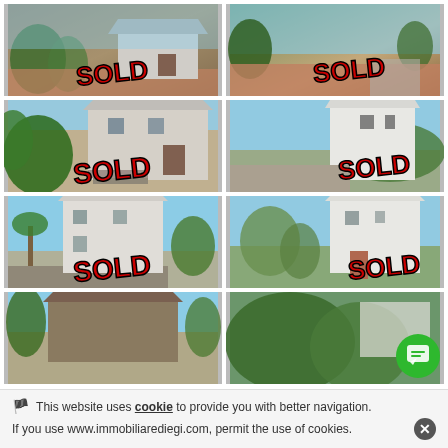[Figure (photo): Property photo with red SOLD overlay text, top-left]
[Figure (photo): Property photo with red SOLD overlay text, top-right]
[Figure (photo): Property photo with red SOLD overlay text, second row left]
[Figure (photo): Property photo with red SOLD overlay text, second row right]
[Figure (photo): Property photo with red SOLD overlay text, third row left]
[Figure (photo): Property photo with red SOLD overlay text, third row right]
[Figure (photo): Property photo partial, bottom row left]
[Figure (photo): Property photo partial, bottom row right]
🏴 This website uses cookie to provide you with better navigation. If you use www.immobiliarediegi.com, permit the use of cookies.